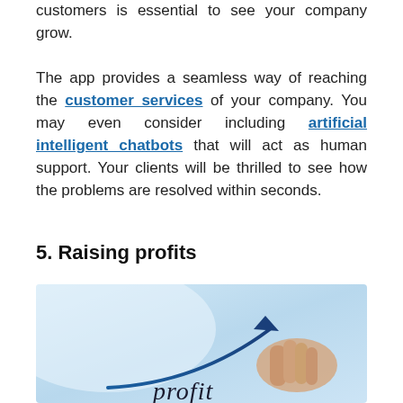customers is essential to see your company grow.

The app provides a seamless way of reaching the customer services of your company. You may even consider including artificial intelligent chatbots that will act as human support. Your clients will be thrilled to see how the problems are resolved within seconds.
5. Raising profits
[Figure (photo): Photo of a hand holding a pen pointing at an upward-curving arrow/chart with the word 'profit' written below, on a light blue background]